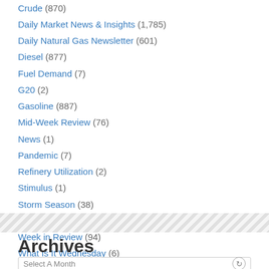Crude (870)
Daily Market News & Insights (1,785)
Daily Natural Gas Newsletter (601)
Diesel (877)
Fuel Demand (7)
G20 (2)
Gasoline (887)
Mid-Week Review (76)
News (1)
Pandemic (7)
Refinery Utilization (2)
Stimulus (1)
Storm Season (38)
Uncategorized (263)
Week in Review (94)
What Is It Wednesday (6)
Archives
Select A Month